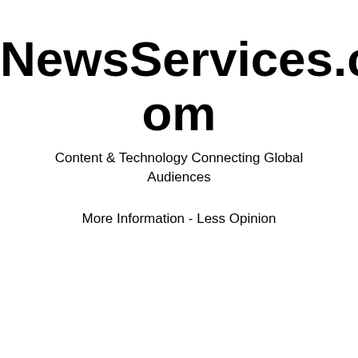NewsServices.com
Content & Technology Connecting Global Audiences
More Information - Less Opinion